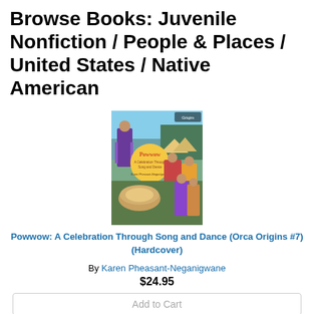Browse Books: Juvenile Nonfiction / People & Places / United States / Native American
[Figure (photo): Book cover of 'Powwow: A Celebration Through Song and Dance' showing Native American children in traditional dress dancing at a powwow.]
Powwow: A Celebration Through Song and Dance (Orca Origins #7) (Hardcover)
By Karen Pheasant-Neganigwane
$24.95
Add to Cart